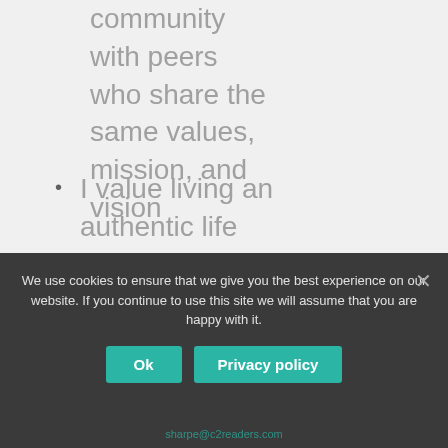community with peers who share the same values, mission, and vision
I value living an authentic life where nothing is hidden and I walk in the light
We use cookies to ensure that we give you the best experience on our website. If you continue to use this site we will assume that you are happy with it.